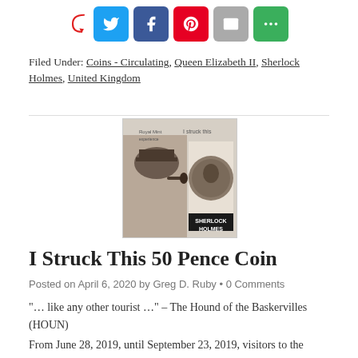[Figure (other): Social share buttons row: Twitter (blue), Facebook (dark blue), Pinterest (red), Email (gray), More (green), with a red curved arrow pointing to them]
Filed Under: Coins - Circulating, Queen Elizabeth II, Sherlock Holmes, United Kingdom
[Figure (photo): Photo of a Royal Mint 'I struck this' experience coin card featuring Sherlock Holmes 50 pence coin]
I Struck This 50 Pence Coin
Posted on April 6, 2020 by Greg D. Ruby • 0 Comments
"… like any other tourist …" – The Hound of the Baskervilles (HOUN)
From June 28, 2019, until September 23, 2019, visitors to the Royal Mint